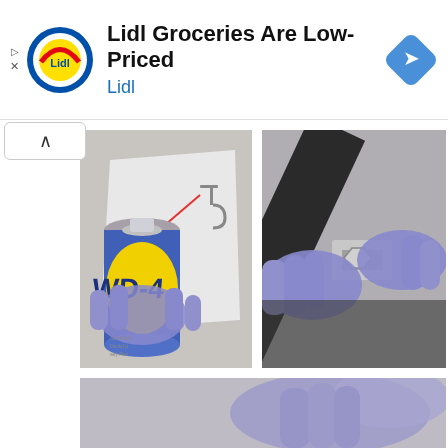[Figure (photo): Advertisement banner for Lidl groceries with Lidl logo (blue/red/yellow circle logo), text 'Lidl Groceries Are Low-Priced' and brand name 'Lidl' in blue, with a blue diamond navigation arrow icon on the right]
[Figure (photo): Photo of a gloved hand (blue/purple nitrile glove) spraying WD-40 lubricant from a blue and yellow can with a red straw nozzle onto a small metal hook/bracket on white paper, placed on a gray concrete surface]
[Figure (photo): Close-up photo of gloved hands (blue/purple nitrile gloves) holding a metal bolt/nut fitting, likely showing a threaded fastener being worked on]
[Figure (photo): Partial photo at bottom showing gloved hands (blue/purple nitrile gloves) against a blurred background, appears to be a continuation of a tutorial series]